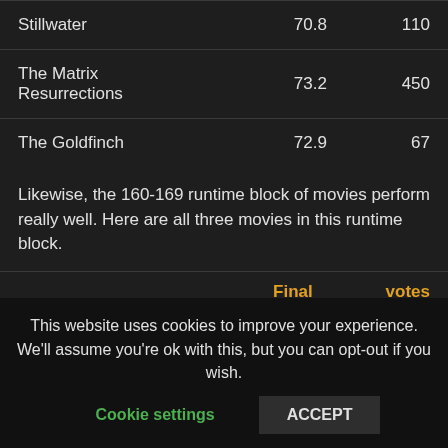| Title | Final Rating | votes submitted |
| --- | --- | --- |
| Stillwater | 70.8 | 110 |
| The Matrix Resurrections | 73.2 | 450 |
| The Goldfinch | 72.9 | 67 |
Likewise, the 160-169 runtime block of movies perform really well. Here are all three movies in this runtime block.
| Title | Final Rating | votes submitted |
| --- | --- | --- |
| No Time to Die | 83.6 | 1390 |
This website uses cookies to improve your experience. We'll assume you're ok with this, but you can opt-out if you wish.